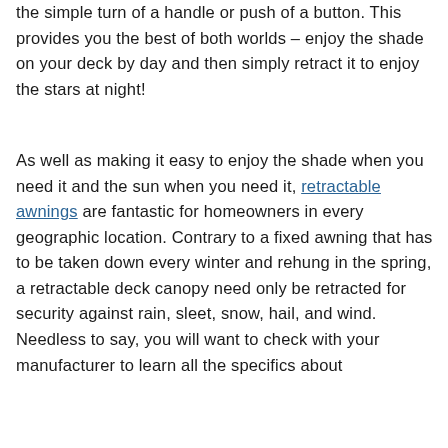the simple turn of a handle or push of a button. This provides you the best of both worlds – enjoy the shade on your deck by day and then simply retract it to enjoy the stars at night!
As well as making it easy to enjoy the shade when you need it and the sun when you need it, retractable awnings are fantastic for homeowners in every geographic location. Contrary to a fixed awning that has to be taken down every winter and rehung in the spring, a retractable deck canopy need only be retracted for security against rain, sleet, snow, hail, and wind. Needless to say, you will want to check with your manufacturer to learn all the specifics about